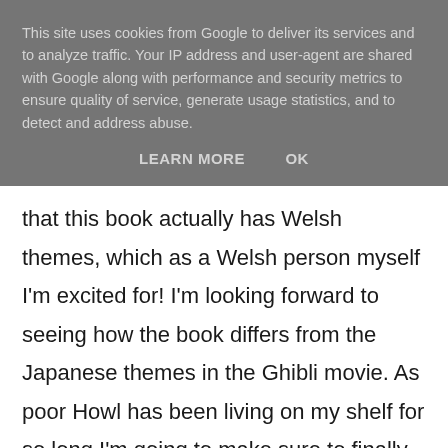This site uses cookies from Google to deliver its services and to analyze traffic. Your IP address and user-agent are shared with Google along with performance and security metrics to ensure quality of service, generate usage statistics, and to detect and address abuse.
LEARN MORE    OK
that this book actually has Welsh themes, which as a Welsh person myself I'm excited for! I'm looking forward to seeing how the book differs from the Japanese themes in the Ghibli movie. As poor Howl has been living on my shelf for so long I'm going to make sure to finally meet him this year!